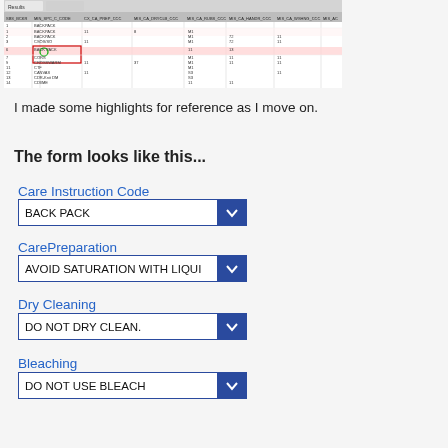[Figure (screenshot): A spreadsheet screenshot showing tabular data with multiple columns. Some rows are highlighted in red/pink and one cell is circled in green. Column headers appear to be care instruction codes.]
I made some highlights for reference as I move on.
The form looks like this...
Care Instruction Code
BACK PACK
CarePreparation
AVOID SATURATION WITH LIQUI
Dry Cleaning
DO NOT DRY CLEAN.
Bleaching
DO NOT USE BLEACH